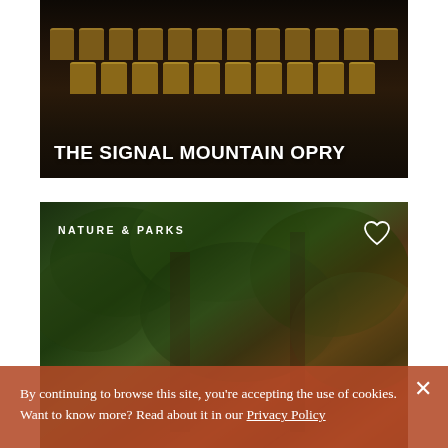[Figure (photo): Theatre auditorium with rows of wooden seats in low light, dark ambiance]
THE SIGNAL MOUNTAIN OPRY
[Figure (photo): Nature scene with dense green foliage and trees, labeled NATURE & PARKS with a heart icon]
By continuing to browse this site, you're accepting the use of cookies. Want to know more? Read about it in our Privacy Policy